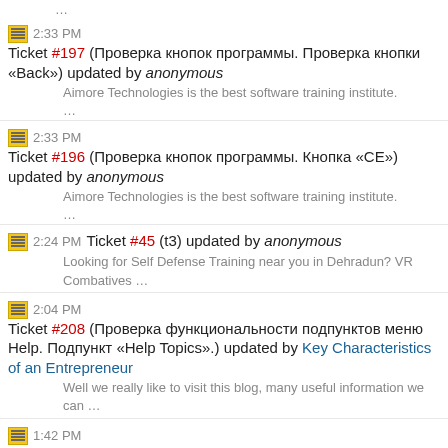2:33 PM Ticket #197 (Проверка кнопок программы. Проверка кнопки «Back») updated by anonymous
Aimore Technologies is the best software training institute. …
2:33 PM Ticket #196 (Проверка кнопок программы. Кнопка «CE») updated by anonymous
Aimore Technologies is the best software training institute. …
2:24 PM Ticket #45 (t3) updated by anonymous
Looking for Self Defense Training near you in Dehradun? VR Combatives …
2:04 PM Ticket #208 (Проверка функциональности подпунктов меню Help. Подпункт «Help Topics».) updated by Key Characteristics of an Entrepreneur
Well we really like to visit this blog, many useful information we can …
1:42 PM Ticket #576 (Software training institute in chennai) created by anonymous